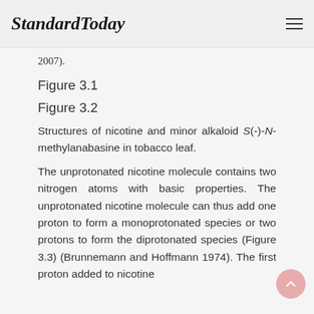StandardToday
2007).
Figure 3.1
Figure 3.2
Structures of nicotine and minor alkaloid S(-)-N-methylanabasine in tobacco leaf.
The unprotonated nicotine molecule contains two nitrogen atoms with basic properties. The unprotonated nicotine molecule can thus add one proton to form a monoprotonated species or two protons to form the diprotonated species (Figure 3.3) (Brunnemann and Hoffmann 1974). The first proton added to nicotine